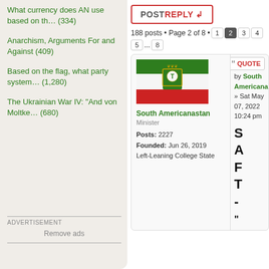What currency does AN use based on th… (334)
Anarchism, Arguments For and Against (409)
Based on the flag, what party system… (1,280)
The Ukrainian War IV: "And von Moltke… (680)
ADVERTISEMENT
Remove ads
[Figure (screenshot): POST REPLY button with red border]
188 posts • Page 2 of 8 • 1 2 3 4 5 ... 8
[Figure (illustration): Flag of South Americanastan - green, white, and red horizontal stripes with coat of arms]
South Americanastan
Minister
Posts: 2227
Founded: Jun 26, 2019
Left-Leaning College State
by South Americana » Sat May 07, 2022 10:24 pm
SAFT-"